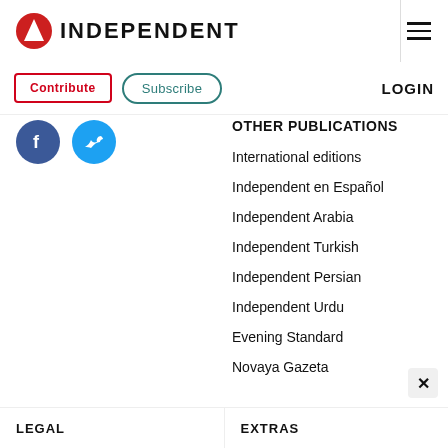INDEPENDENT
Contribute  Subscribe  LOGIN
[Figure (logo): Facebook and Twitter social media icons]
OTHER PUBLICATIONS
International editions
Independent en Español
Independent Arabia
Independent Turkish
Independent Persian
Independent Urdu
Evening Standard
Novaya Gazeta
LEGAL
EXTRAS